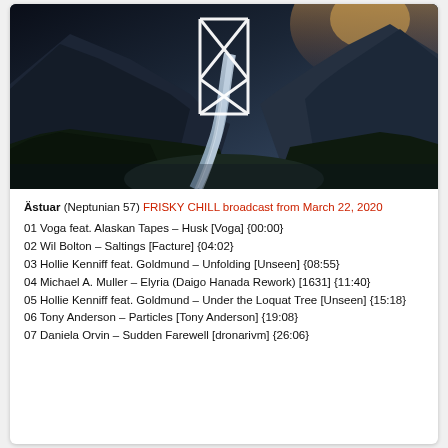[Figure (photo): Aerial/landscape photo of a mountain valley with a river/stream winding through it, dense forest on the sides, dramatic sky with sun, and a white geometric hourglass/diamond logo overlay in the center]
Ästuar (Neptunian 57) FRISKY CHILL broadcast from March 22, 2020
01 Voga feat. Alaskan Tapes – Husk [Voga] {00:00}
02 Wil Bolton – Saltings [Facture] {04:02}
03 Hollie Kenniff feat. Goldmund – Unfolding [Unseen] {08:55}
04 Michael A. Muller – Elyria (Daigo Hanada Rework) [1631] {11:40}
05 Hollie Kenniff feat. Goldmund – Under the Loquat Tree [Unseen] {15:18}
06 Tony Anderson – Particles [Tony Anderson] {19:08}
07 Daniela Orvin – Sudden Farewell [dronarivm] {26:06}